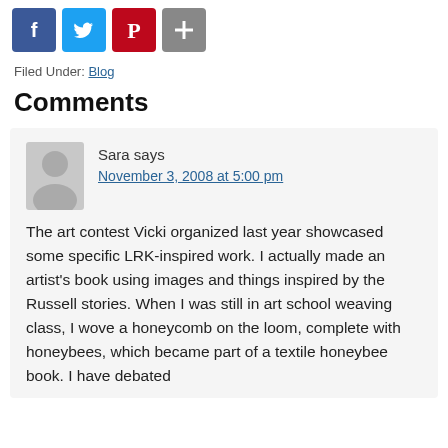[Figure (other): Social media share icons: Facebook (blue), Twitter (blue bird), Pinterest (red), Share (gray plus)]
Filed Under: Blog
Comments
Sara says
November 3, 2008 at 5:00 pm

The art contest Vicki organized last year showcased some specific LRK-inspired work. I actually made an artist's book using images and things inspired by the Russell stories. When I was still in art school weaving class, I wove a honeycomb on the loom, complete with honeybees, which became part of a textile honeybee book. I have debated